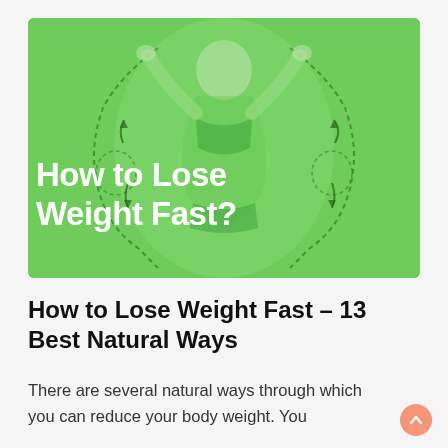[Figure (illustration): Green background image of a smiling woman in fitness wear with arms raised, overlaid with outline illustrations of body shape transformations and arrows. Bold white text reads 'How to Lose Weight Fast?']
How to Lose Weight Fast – 13 Best Natural Ways
There are several natural ways through which you can reduce your body weight. You